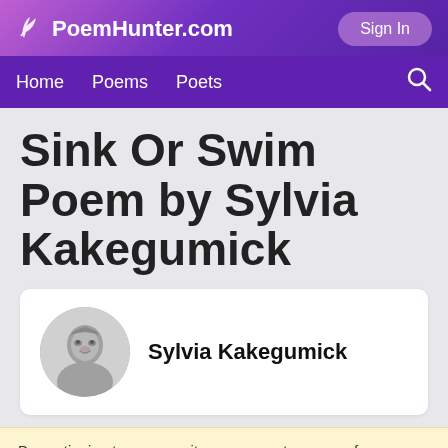PoemHunter.com | Sign In | Home | Poems | Poets
Sink Or Swim Poem by Sylvia Kakegumick
[Figure (photo): Circular black and white portrait photo of Sylvia Kakegumick]
Sylvia Kakegumick
By continuing to use our site, you accept our use of cookies. To learn more, click here.